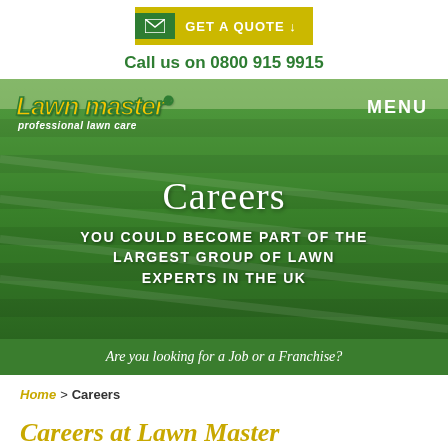GET A QUOTE ↓ | Call us on 0800 915 9915
[Figure (screenshot): Lawn Master professional lawn care hero image showing aerial view of green lawn with logo, MENU label, Careers title, and subtitle text]
Are you looking for a Job or a Franchise?
Home > Careers
Careers at Lawn Master